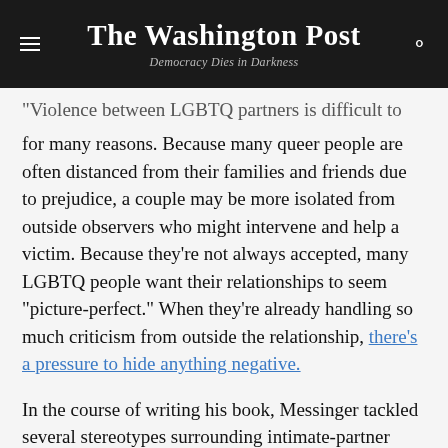The Washington Post — Democracy Dies in Darkness
"Violence between LGBTQ partners is difficult to see for many reasons. Because many queer people are often distanced from their families and friends due to prejudice, a couple may be more isolated from outside observers who might intervene and help a victim. Because they're not always accepted, many LGBTQ people want their relationships to seem "picture-perfect." When they're already handling so much criticism from outside the relationship, there's a pressure to hide anything negative.
In the course of writing his book, Messinger tackled several stereotypes surrounding intimate-partner